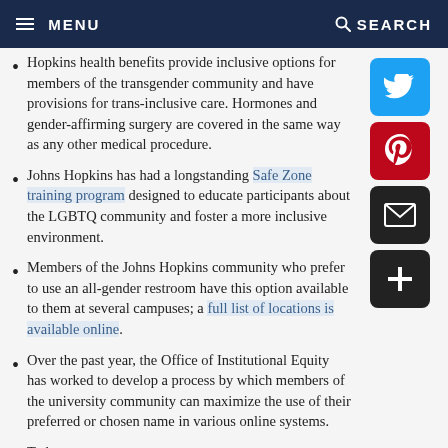MENU   SEARCH
Hopkins health benefits provide inclusive options for members of the transgender community and have provisions for trans-inclusive care. Hormones and gender-affirming surgery are covered in the same way as any other medical procedure.
Johns Hopkins has had a longstanding Safe Zone training program designed to educate participants about the LGBTQ community and foster a more inclusive environment.
Members of the Johns Hopkins community who prefer to use an all-gender restroom have this option available to them at several campuses; a full list of locations is available online.
Over the past year, the Office of Institutional Equity has worked to develop a process by which members of the university community can maximize the use of their preferred or chosen name in various online systems.
To be continued...